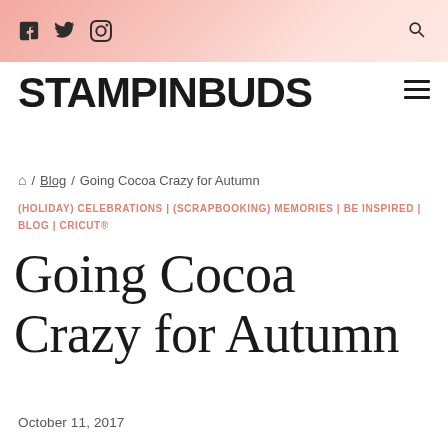Social icons: Facebook, Twitter, Instagram | Search icon
STAMPINBUDS
🏠 / Blog / Going Cocoa Crazy for Autumn
(HOLIDAY) CELEBRATIONS | (SCRAPBOOKING) MEMORIES | BE INSPIRED | BLOG | CRICUT®
Going Cocoa Crazy for Autumn
October 11, 2017